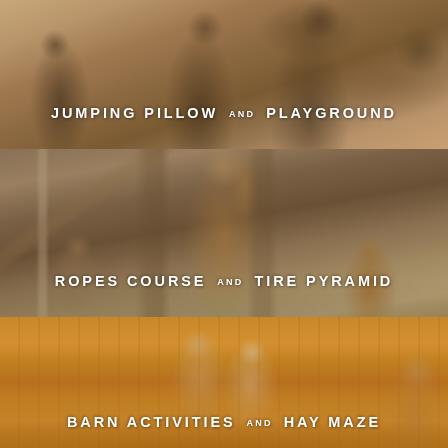[Figure (photo): Children playing outdoors on a playground, warm golden hour light, multiple kids in motion with wind-blown hair]
JUMPING PILLOW AND PLAYGROUND
[Figure (photo): Children on a ropes course and swing set, wooden playground structure with beams, child raising hand excitedly, another toddler in orange hoodie]
ROPES COURSE AND TIRE PYRAMID
[Figure (photo): Children sitting on hay bales in a barn setting, warm golden hay colors, two small children sitting together]
BARN ACTIVITIES AND HAY MAZE